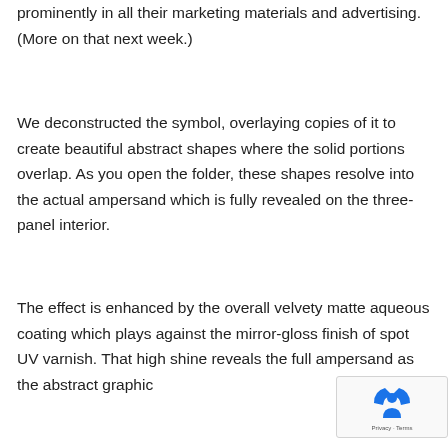prominently in all their marketing materials and advertising. (More on that next week.)
We deconstructed the symbol, overlaying copies of it to create beautiful abstract shapes where the solid portions overlap. As you open the folder, these shapes resolve into the actual ampersand which is fully revealed on the three-panel interior.
The effect is enhanced by the overall velvety matte aqueous coating which plays against the mirror-gloss finish of spot UV varnish. That high shine reveals the full ampersand as the abstract graphic